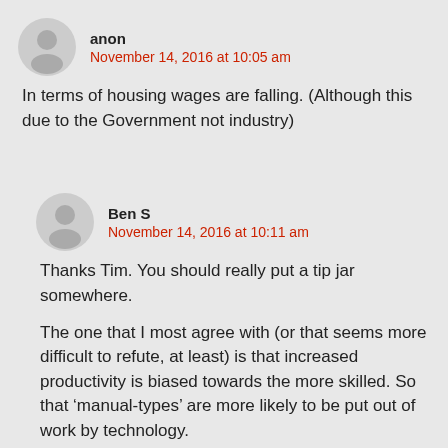anon
November 14, 2016 at 10:05 am
In terms of housing wages are falling. (Although this due to the Government not industry)
Ben S
November 14, 2016 at 10:11 am
Thanks Tim. You should really put a tip jar somewhere.
The one that I most agree with (or that seems more difficult to refute, at least) is that increased productivity is biased towards the more skilled. So that ‘manual-types’ are more likely to be put out of work by technology.